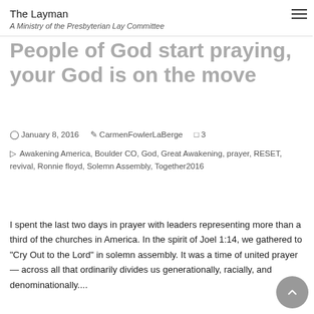The Layman
A Ministry of the Presbyterian Lay Committee
People of God start praying, your God is on the move
January 8, 2016   CarmenFowlerLaBerge   3
Awakening America, Boulder CO, God, Great Awakening, prayer, RESET, revival, Ronnie floyd, Solemn Assembly, Together2016
I spent the last two days in prayer with leaders representing more than a third of the churches in America. In the spirit of Joel 1:14, we gathered to "Cry Out to the Lord" in solemn assembly. It was a time of united prayer — across all that ordinarily divides us generationally, racially, and denominationally....